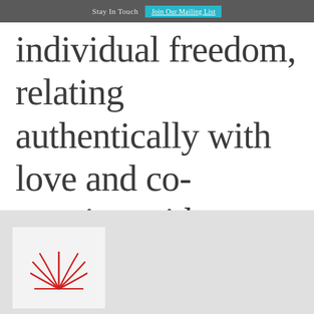Stay In Touch   Join Our Mailing List
individual freedom, relating authentically with love and co-creating with compassion.
[Figure (logo): Partial logo visible at bottom left — arch/rays icon in red/dark outline, inside a light box on a grey footer background]